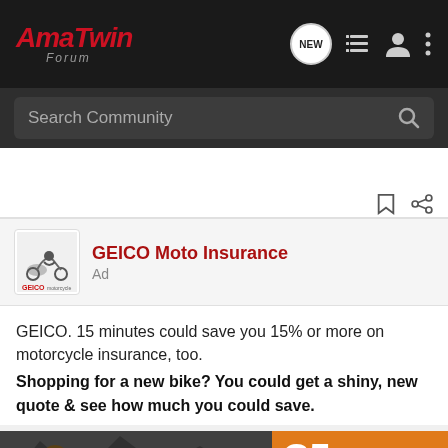AmaTwin Forum
Search Community
[Figure (logo): GEICO Moto Insurance ad logo with motorcycle rider]
GEICO Moto Insurance
Ad
GEICO. 15 minutes could save you 15% or more on motorcycle insurance, too.
Shopping for a new bike? You could get a shiny, new quote & see how much you could save.
[Figure (photo): Bottom banner showing motorcycle riders and a helmet with orange C5 branding text reading DISCOVER THE FLIP-UP FUTURE]